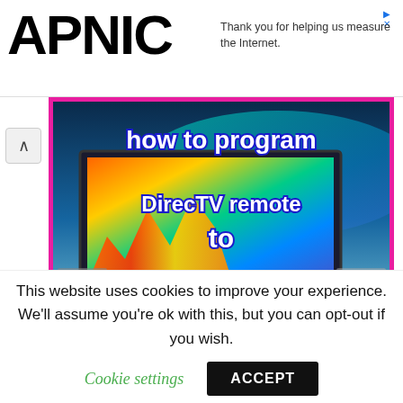APNIC
Thank you for helping us measure the Internet.
[Figure (illustration): Thumbnail image with pink border showing text 'how to program DirecTV remote to Samsung Smart TV' overlaid on a background featuring a TV screen with colorful aurora/fire imagery.]
This website uses cookies to improve your experience. We'll assume you're ok with this, but you can opt-out if you wish. Cookie settings ACCEPT